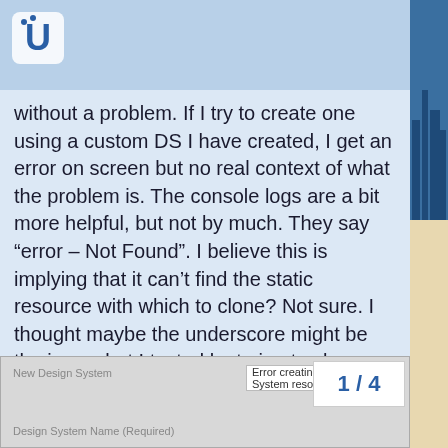without a problem. If I try to create one using a custom DS I have created, I get an error on screen but no real context of what the problem is. The console logs are a bit more helpful, but not by much. They say “error – Not Found”. I believe this is implying that it can’t find the static resource with which to clone? Not sure. I thought maybe the underscore might be the issue, but I tested by trying to clone a custom DS without an underscore and still get the same error.
[Figure (screenshot): Form panel showing 'New Design System' label and 'Error creating Design System resources' error banner, with 'Design System Name (Required)' field label]
1 / 4